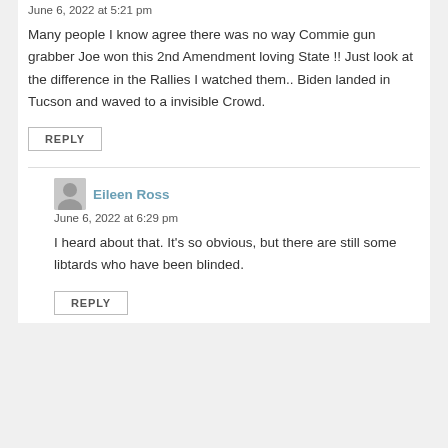June 6, 2022 at 5:21 pm
Many people I know agree there was no way Commie gun grabber Joe won this 2nd Amendment loving State !! Just look at the difference in the Rallies I watched them.. Biden landed in Tucson and waved to a invisible Crowd.
REPLY
Eileen Ross
June 6, 2022 at 6:29 pm
I heard about that. It's so obvious, but there are still some libtards who have been blinded.
REPLY